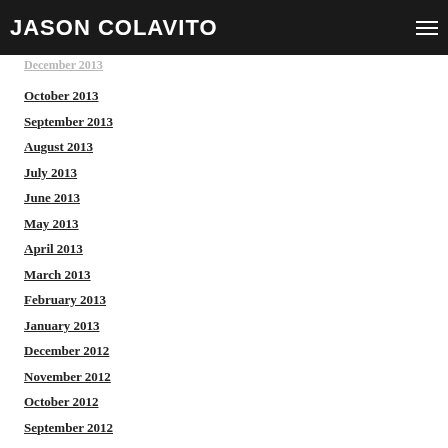Jason Colavito
December 2013 (partial, cut off)
October 2013
September 2013
August 2013
July 2013
June 2013
May 2013
April 2013
March 2013
February 2013
January 2013
December 2012
November 2012
October 2012
September 2012
August 2012
July 2012
June 2012 (partial, cut off)